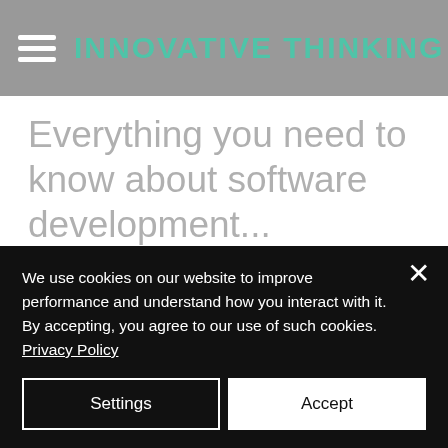INNOVATIVE THINKING
Everything you need to know about software development...
What is software development?
Without getting too technical, software development covers the process of creating and launching computer
We use cookies on our website to improve performance and understand how you interact with it. By accepting, you agree to our use of such cookies. Privacy Policy
Settings
Accept